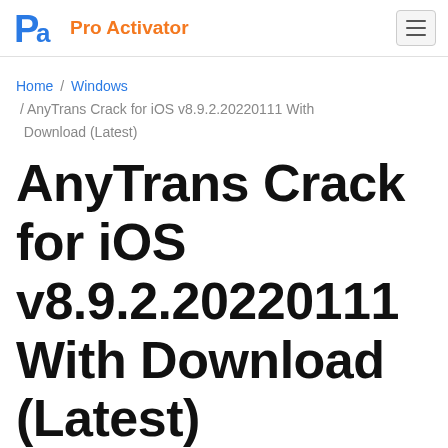Pro Activator
Home / Windows / AnyTrans Crack for iOS v8.9.2.20220111 With Download (Latest)
AnyTrans Crack for iOS v8.9.2.20220111 With Download (Latest)
PRO ACTIVATOR
[Figure (other): Social sharing icons row: Facebook, Twitter, Reddit, Pinterest, Copy]